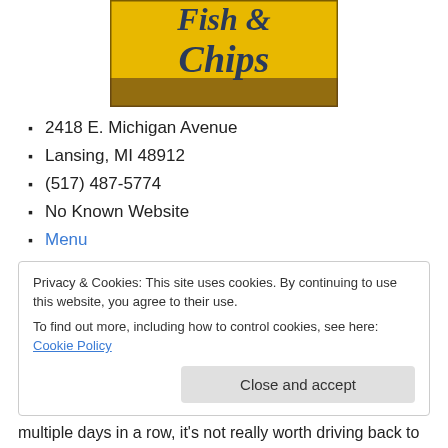[Figure (photo): Yellow sign with 'Fish & Chips' text in dark gothic lettering, photographed at an angle]
2418 E. Michigan Avenue
Lansing, MI 48912
(517) 487-5774
No Known Website
Menu
Privacy & Cookies: This site uses cookies. By continuing to use this website, you agree to their use.
To find out more, including how to control cookies, see here: Cookie Policy
multiple days in a row, it's not really worth driving back to